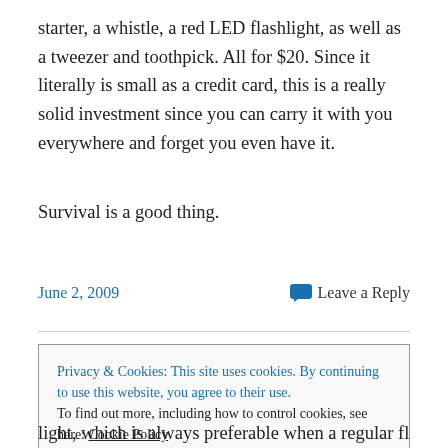starter, a whistle, a red LED flashlight, as well as a tweezer and toothpick. All for $20. Since it literally is small as a credit card, this is a really solid investment since you can carry it with you everywhere and forget you even have it.
Survival is a good thing.
June 2, 2009
Leave a Reply
Privacy & Cookies: This site uses cookies. By continuing to use this website, you agree to their use.
To find out more, including how to control cookies, see here: Cookie Policy
Close and accept
light, which is always preferable when a regular flashlight